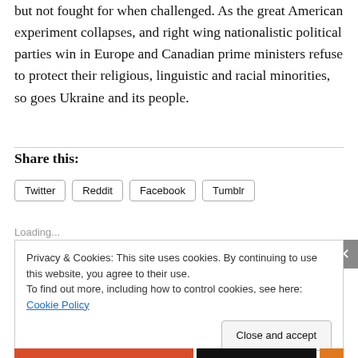but not fought for when challenged. As the great American experiment collapses, and right wing nationalistic political parties win in Europe and Canadian prime ministers refuse to protect their religious, linguistic and racial minorities, so goes Ukraine and its people.
Share this:
Twitter  Reddit  Facebook  Tumblr
Loading...
Privacy & Cookies: This site uses cookies. By continuing to use this website, you agree to their use.
To find out more, including how to control cookies, see here: Cookie Policy
Close and accept